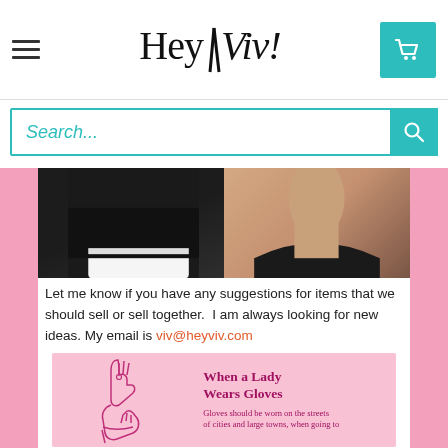Hey Viv! — navigation header with hamburger menu, logo, and cart button
Search...
[Figure (photo): Partial photo strip showing left side: a man in a tuxedo sleeve with white cuff, and right side: a woman's neck and shoulder in a black dress]
Let me know if you have any suggestions for items that we should sell or sell together.  I am always looking for new ideas. My email is viv@heyviv.com
[Figure (illustration): Pink promotional card showing line-art drawing of two elegant gloved hands and text 'When a Lady Wears Gloves' with subtitle 'Gloves should be worn on the streets of cities and large towns, when going to']